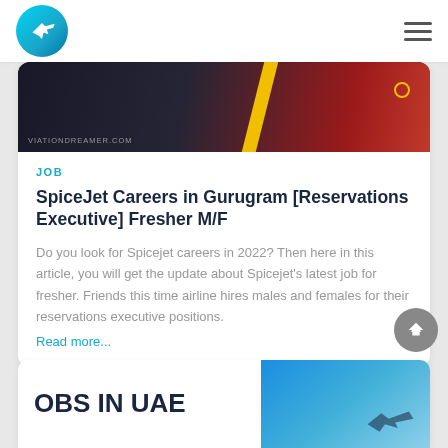Aviation Dreamer website navigation bar with logo and hamburger menu
[Figure (photo): Dark aviation-themed banner image with yellow stripe and VIATIONDREAMER.COM watermark]
JOB
SpiceJet Careers in Gurugram [Reservations Executive] Fresher M/F
Do you look for Spicejet careers in 2022? Then here in this article, you will get the update about Spicejet's latest job for fresher. Friends this time airline hires males and females for their reservations executive positions.
Read more...
[Figure (photo): Partially visible card showing 'OBS IN UAE' text with aviation image in background (sky and plane silhouette)]